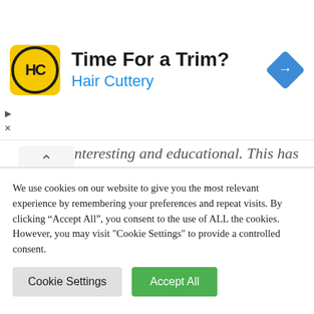[Figure (other): Hair Cuttery advertisement banner with logo, text 'Time For a Trim?' and 'Hair Cuttery', and a blue navigation icon]
interesting and educational. This has motivated me to rewrite my content following the concepts I am learning from the email series." – Mani Raju, www.fortuneinewaste.com
We use cookies on our website to give you the most relevant experience by remembering your preferences and repeat visits. By clicking "Accept All", you consent to the use of ALL the cookies. However, you may visit "Cookie Settings" to provide a controlled consent.